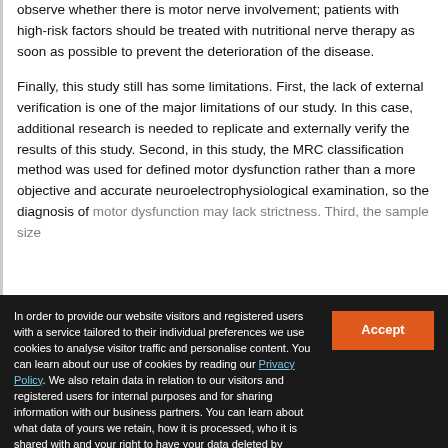observe whether there is motor nerve involvement; patients with high-risk factors should be treated with nutritional nerve therapy as soon as possible to prevent the deterioration of the disease.
Finally, this study still has some limitations. First, the lack of external verification is one of the major limitations of our study. In this case, additional research is needed to replicate and externally verify the results of this study. Second, in this study, the MRC classification method was used for defined motor dysfunction rather than a more objective and accurate neuroelectrophysiological examination, so the diagnosis of motor dysfunction may lack strictness. Third, the sample size
In order to provide our website visitors and registered users with a service tailored to their individual preferences we use cookies to analyse visitor traffic and personalise content. You can learn about our use of cookies by reading our Privacy Policy. We also retain data in relation to our visitors and registered users for internal purposes and for sharing information with our business partners. You can learn about what data of yours we retain, how it is processed, who it is shared with and your right to have your data deleted by reading our Privacy Policy. If you agree to our use of cookies and the contents of our Privacy Policy please click 'accept'.